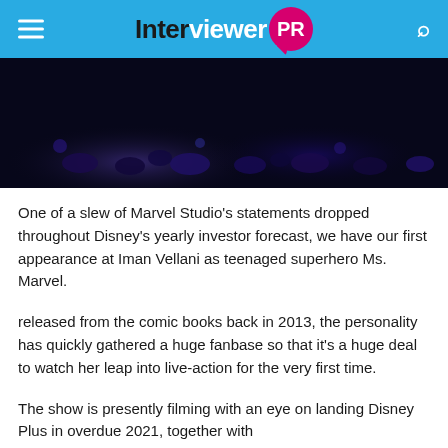Interviewer PR
[Figure (photo): Dark image of a dimly lit crowd or scene with blue/purple tones]
One of a slew of Marvel Studio's statements dropped throughout Disney's yearly investor forecast, we have our first appearance at Iman Vellani as teenaged superhero Ms. Marvel.
released from the comic books back in 2013, the personality has quickly gathered a huge fanbase so that it's a huge deal to watch her leap into live-action for the very first time.
The show is presently filming with an eye on landing Disney Plus in overdue 2021, together with